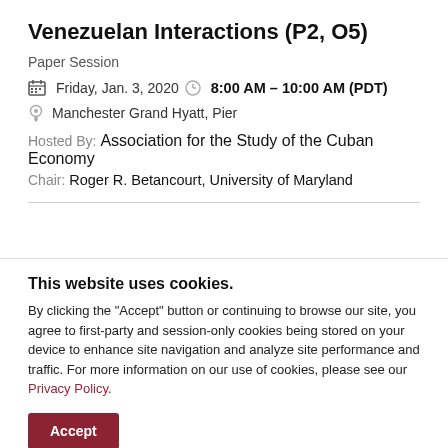Venezuelan Interactions (P2, O5)
Paper Session
Friday, Jan. 3, 2020  8:00 AM – 10:00 AM (PDT)
Manchester Grand Hyatt, Pier
Hosted By: Association for the Study of the Cuban Economy
Chair: Roger R. Betancourt, University of Maryland
This website uses cookies.
By clicking the "Accept" button or continuing to browse our site, you agree to first-party and session-only cookies being stored on your device to enhance site navigation and analyze site performance and traffic. For more information on our use of cookies, please see our Privacy Policy.
Accept